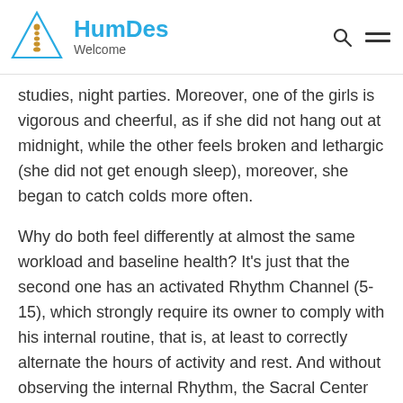HumDes Welcome
studies, night parties. Moreover, one of the girls is vigorous and cheerful, as if she did not hang out at midnight, while the other feels broken and lethargic (she did not get enough sleep), moreover, she began to catch colds more often.
Why do both feel differently at almost the same workload and baseline health? It’s just that the second one has an activated Rhythm Channel (5-15), which strongly require its owner to comply with his internal routine, that is, at least to correctly alternate the hours of activity and rest. And without observing the internal Rhythm, the Sacral Center (whether it is defined or not), which is the main motor that gives strength to our immunity, will begin to work incorrectly. Although the